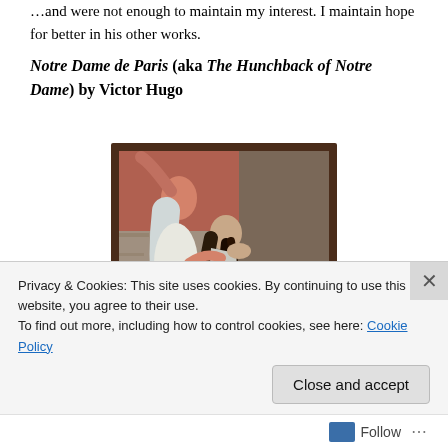…and were not enough to maintain my interest. I maintain hope for better in his other works.
Notre Dame de Paris (aka The Hunchback of Notre Dame) by Victor Hugo
[Figure (illustration): Painting depicting a muscular figure carrying a woman with long dark hair, appearing to be a dramatic scene from The Hunchback of Notre Dame, framed with a dark brown border.]
Privacy & Cookies: This site uses cookies. By continuing to use this website, you agree to their use.
To find out more, including how to control cookies, see here: Cookie Policy
Close and accept
Follow